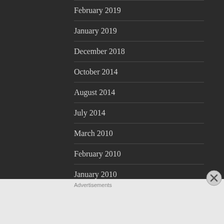February 2019
January 2019
December 2018
October 2014
August 2014
July 2014
March 2010
February 2010
January 2010
Advertisements
[Figure (infographic): Advertisement banner with dark teal background reading 'Opinions. We all have them!' with WordPress and another logo on the right.]